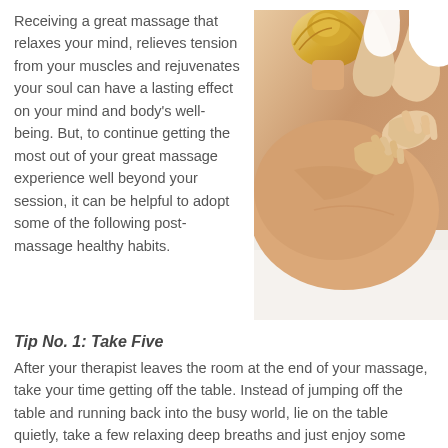Receiving a great massage that relaxes your mind, relieves tension from your muscles and rejuvenates your soul can have a lasting effect on your mind and body's well-being. But, to continue getting the most out of your great massage experience well beyond your session, it can be helpful to adopt some of the following post-massage healthy habits.
[Figure (photo): Close-up photograph of a massage therapist's hands working on a client's back/shoulder area. The client has blonde hair up in a bun. The therapist's hands are pressing firmly on the skin.]
Tip No. 1: Take Five
After your therapist leaves the room at the end of your massage, take your time getting off the table. Instead of jumping off the table and running back into the busy world, lie on the table quietly, take a few relaxing deep breaths and just enjoy some peaceful stillness for a few minutes.
Tip No. 2: Clear Your Calendar
If you jump back into your busy, hectic schedule following your